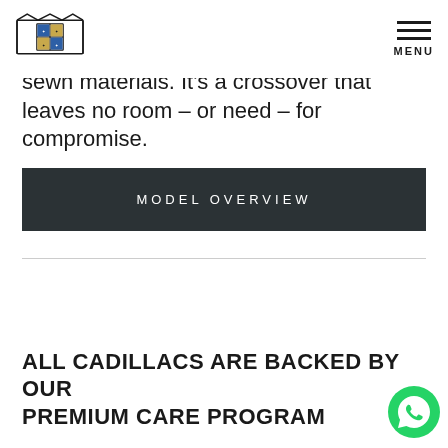Cadillac logo and MENU navigation
sewn materials. It's a crossover that leaves no room – or need – for compromise.
MODEL OVERVIEW
ALL CADILLACS ARE BACKED BY OUR PREMIUM CARE PROGRAM